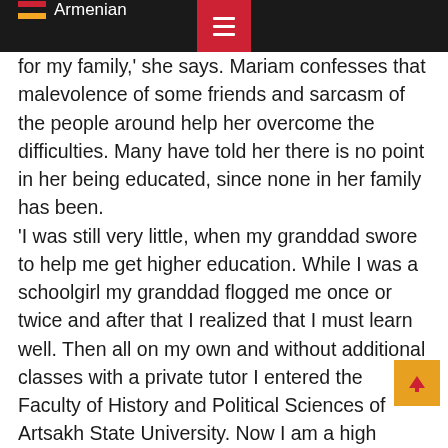Armenian
for my family,' she says. Mariam confesses that malevolence of some friends and sarcasm of the people around help her overcome the difficulties. Many have told her there is no point in her being educated, since none in her family has been. 'I was still very little, when my granddad swore to help me get higher education. While I was a schoolgirl my granddad flogged me once or twice and after that I realized that I must learn well. Then all on my own and without additional classes with a private tutor I entered the Faculty of History and Political Sciences of Artsakh State University. Now I am a high achiever and I want to prove that people shouldn't be classified, and moreover, made fun of,' hardly pronounces Mariam no longer able to swallow her